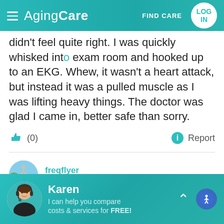AgingCare — FIND CARE | LOG IN
didn't feel quite right. I was quickly whisked into exam room and hooked up to an EKG. Whew, it wasn't a heart attack, but instead it was a pulled muscle as I was lifting heavy things. The doctor was glad I came in, better safe than sorry.
(0)   Report
freqflyer
Sep 2016
bichons9, please be careful about putting out your
Karen — I can help you compare costs & services for FREE!